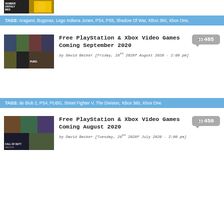[Figure (photo): Partial top image showing game covers with text VEMBER ONTHLY MES]
TAGS: Aragami, Bugsnax, Lego Indiana Jones, PS4, PS5, Shadow Of War, XBox 360, Xbox One,
[Figure (photo): Free PlayStation & Xbox Video Games Coming September 2020 article thumbnail showing multiple game covers]
Free PlayStation & Xbox Video Games Coming September 2020
by David Becker [Friday, 28th 2020f August 2020 - 2:00 pm]
465
TAGS: de Blob 2, PS4, PUBG, Street Fighter V, The Division, XBox 360, Xbox One
[Figure (photo): Free PlayStation & Xbox Video Games Coming August 2020 article thumbnail showing multiple game covers including Call of Duty]
Free PlayStation & Xbox Video Games Coming August 2020
by David Becker [Tuesday, 28th 2020f July 2020 - 2:00 pm]
456